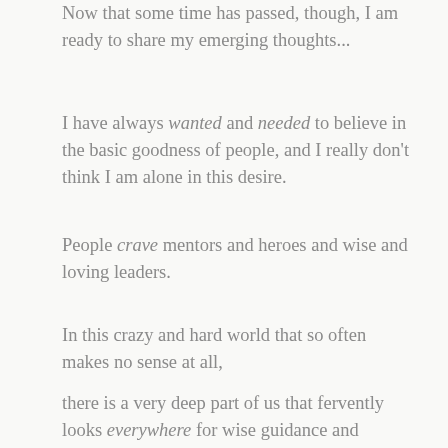Now that some time has passed, though, I am ready to share my emerging thoughts...
I have always wanted and needed to believe in the basic goodness of people, and I really don't think I am alone in this desire.
People crave mentors and heroes and wise and loving leaders.
In this crazy and hard world that so often makes no sense at all,
there is a very deep part of us that fervently looks everywhere for wise guidance and loving leadership.